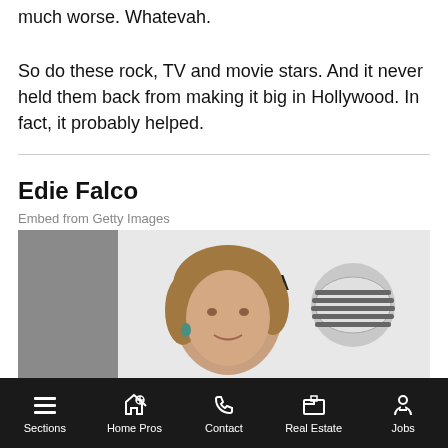much worse. Whatevah.
So do these rock, TV and movie stars. And it never held them back from making it big in Hollywood. In fact, it probably helped.
Edie Falco
Embed from Getty Images
[Figure (photo): Photo of Edie Falco at Tribeca Film Festival event, standing in front of a Tribeca Film Festival and AT&T branded backdrop, wearing a black jacket]
Sections | Home Pros | Contact | Real Estate | Jobs